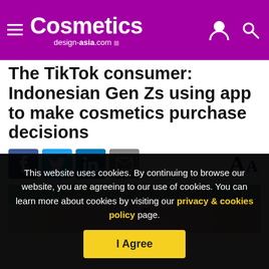Cosmetics design-asia.com
The TikTok consumer: Indonesian Gen Zs using app to make cosmetics purchase decisions
[Figure (screenshot): Social media share icons: Facebook (blue), Twitter (light blue), LinkedIn (blue), Email (grey), and font size controls (Aa) on the right]
[Figure (photo): Cropped photo of a young woman wearing a hijab with light pink/peach tones]
This website uses cookies. By continuing to browse our website, you are agreeing to our use of cookies. You can learn more about cookies by visiting our privacy & cookies policy page.
I Agree